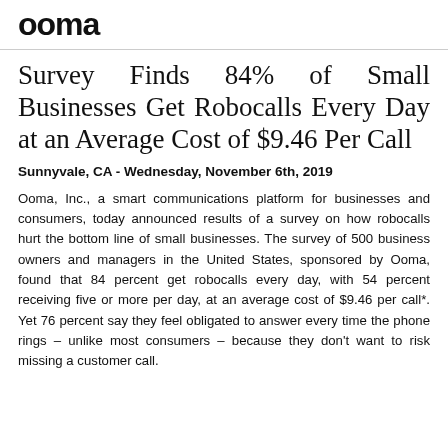Ooma
Survey Finds 84% of Small Businesses Get Robocalls Every Day at an Average Cost of $9.46 Per Call
Sunnyvale, CA - Wednesday, November 6th, 2019
Ooma, Inc., a smart communications platform for businesses and consumers, today announced results of a survey on how robocalls hurt the bottom line of small businesses. The survey of 500 business owners and managers in the United States, sponsored by Ooma, found that 84 percent get robocalls every day, with 54 percent receiving five or more per day, at an average cost of $9.46 per call*. Yet 76 percent say they feel obligated to answer every time the phone rings – unlike most consumers – because they don't want to risk missing a customer call.